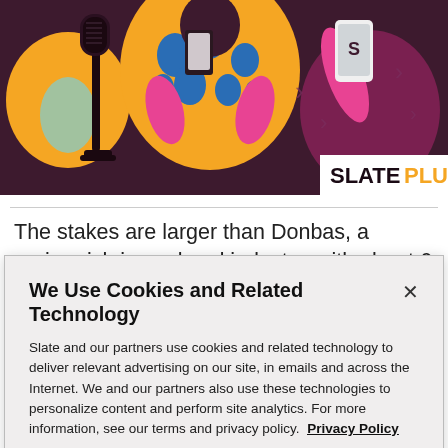[Figure (illustration): Colorful illustrated header banner showing stylized figures with a microphone, phone, and tablet against a dark maroon background with Slate Plus logo in bottom right corner]
The stakes are larger than Donbas, a region rich in coal and industry, with about 6 percent of Ukraine's
We Use Cookies and Related Technology
Slate and our partners use cookies and related technology to deliver relevant advertising on our site, in emails and across the Internet. We and our partners also use these technologies to personalize content and perform site analytics. For more information, see our terms and privacy policy.  Privacy Policy
OK